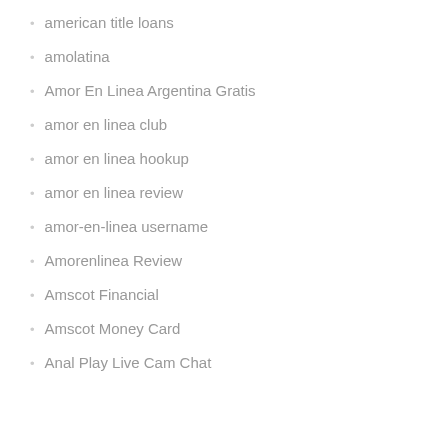american title loans
amolatina
Amor En Linea Argentina Gratis
amor en linea club
amor en linea hookup
amor en linea review
amor-en-linea username
Amorenlinea Review
Amscot Financial
Amscot Money Card
Anal Play Live Cam Chat